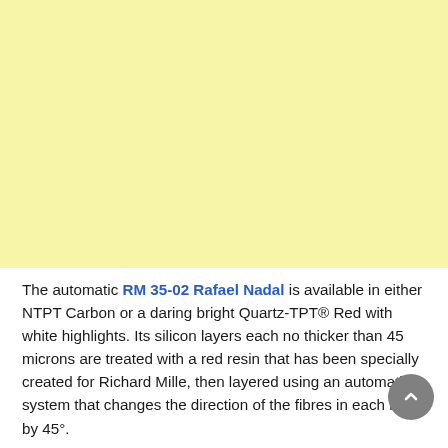[Figure (illustration): Large light yellow/cream colored rectangular area occupying the top portion of the page, likely a product image placeholder.]
The automatic RM 35-02 Rafael Nadal is available in either NTPT Carbon or a daring bright Quartz-TPT® Red with white highlights. Its silicon layers each no thicker than 45 microns are treated with a red resin that has been specially created for Richard Mille, then layered using an automatic system that changes the direction of the fibres in each layer by 45°.